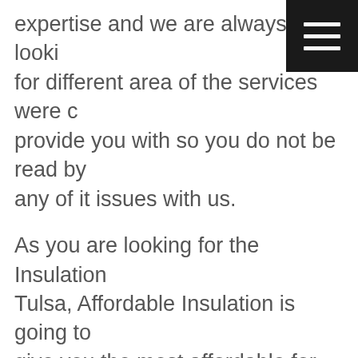expertise and we are always in be looking for different area of the services were can provide you with so you do not be read by any of it issues with us.
As you are looking for the Insulation Tulsa, Affordable Insulation is going to give you the most affordable for any of the solution services you are can be able to give you the insulation removal services as well as the air seeding services as well as the duck wishes services as well as the attic a solution services you can be looking for you do not you rebranded issues with us because were can able to dedicate anything of animals of the results you can be looking at.